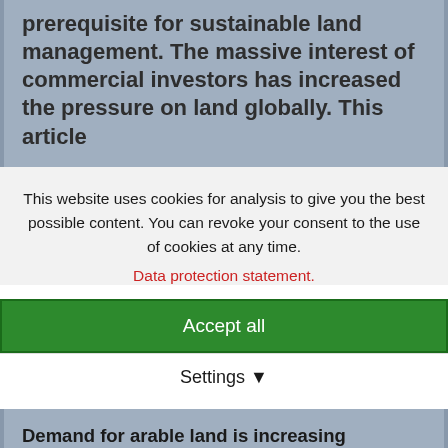prerequisite for sustainable land management. The massive interest of commercial investors has increased the pressure on land globally. This article
This website uses cookies for analysis to give you the best possible content. You can revoke your consent to the use of cookies at any time.
Data protection statement.
Accept all
Settings
Demand for arable land is increasing
According to the latest figures on the dynamics of the land rush published by the Land Matrix,